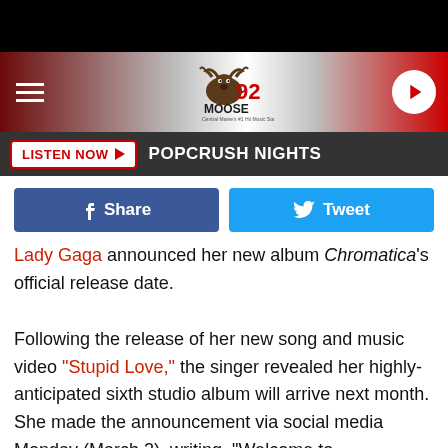[Figure (screenshot): 92 Moose radio station logo with moose mascot]
LISTEN NOW ▶  POPCRUSH NIGHTS
[Figure (infographic): Facebook Share and Twitter Tweet social sharing buttons]
Lady Gaga announced her new album Chromatica's official release date.

Following the release of her new song and music video "Stupid Love," the singer revealed her highly-anticipated sixth studio album will arrive next month. She made the announcement via social media Monday (March 2), writing, "Welcome to Chromatica, coming April 10" before confirming the ph[oto]